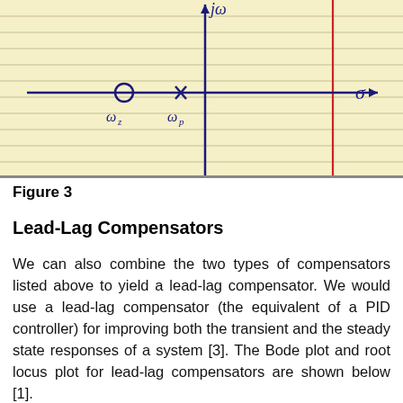[Figure (engineering-diagram): Handwritten root locus / pole-zero diagram on lined yellow paper. Shows a real axis (horizontal arrow pointing right) and imaginary axis (vertical arrow pointing up). A circle labeled with a lowercase sigma is at the far right. A circled zero is on the negative real axis labeled omega_z (below). An 'x' pole marker is between the zero and the imaginary axis labeled omega_p (below). A vertical red line is at the right side of the plot.]
Figure 3
Lead-Lag Compensators
We can also combine the two types of compensators listed above to yield a lead-lag compensator. We would use a lead-lag compensator (the equivalent of a PID controller) for improving both the transient and the steady state responses of a system [3]. The Bode plot and root locus plot for lead-lag compensators are shown below [1].